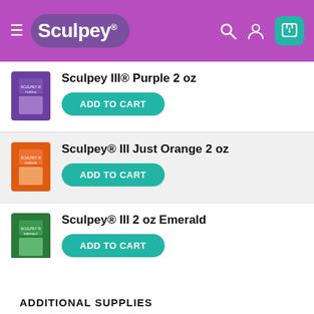[Figure (screenshot): Sculpey website header with purple background, hamburger menu, Sculpey logo, search icon, user icon, and teal cart icon]
Sculpey III® Purple 2 oz — ADD TO CART
Sculpey® III Just Orange 2 oz — ADD TO CART
Sculpey® III 2 oz Emerald — ADD TO CART
Sculpey Bake Shop® Modeling Tools 4 pc — ADD TO CART
ADDITIONAL SUPPLIES